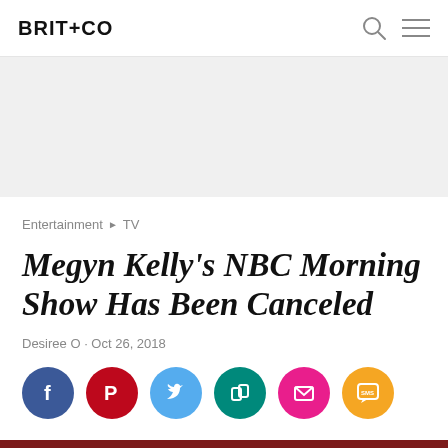BRIT+CO
[Figure (other): Light gray advertisement banner placeholder area]
Entertainment ▶ TV
Megyn Kelly's NBC Morning Show Has Been Canceled
Desiree O · Oct 26, 2018
[Figure (other): Social sharing buttons: Facebook (dark blue), Pinterest (red), Twitter (light blue), Copy link (teal), Email (pink), SMS (orange)]